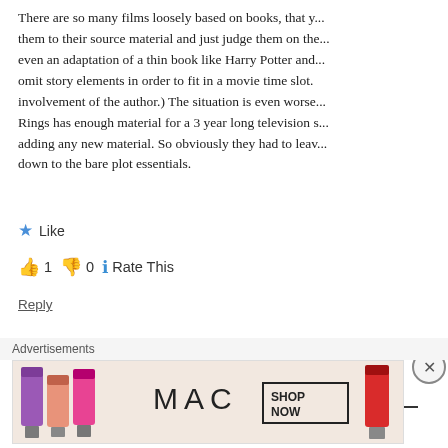There are so many films loosely based on books, that y... them to their source material and just judge them on the... even an adaptation of a thin book like Harry Potter and... omit story elements in order to fit in a movie time slot. involvement of the author.) The situation is even worse... Rings has enough material for a 3 year long television s... adding any new material. So obviously they had to leav... down to the bare plot essentials.
★ Like
👍 1  👎 0  ℹ Rate This
Reply
[Figure (photo): Avatar photo of a person]
Robert Lockard, the Deja Reviewer
Advertisements
[Figure (infographic): MAC cosmetics advertisement banner with lipsticks and SHOP NOW button]